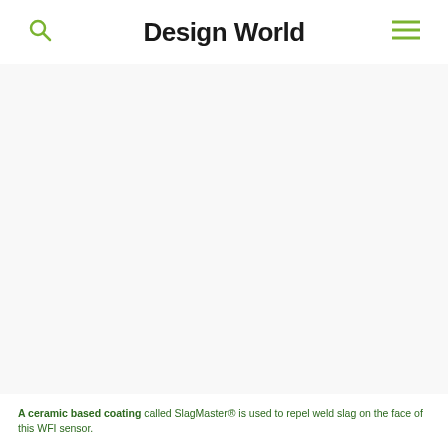Design World
[Figure (photo): Large image area showing a WFI sensor with SlagMaster ceramic based coating on its face, used to repel weld slag. The image area appears mostly white/blank in this view.]
A ceramic based coating called SlagMaster® is used to repel weld slag on the face of this WFI sensor.